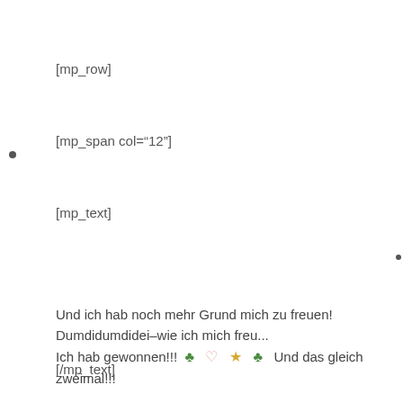[mp_row]
[mp_span col="12"]
[mp_text]
Und ich hab noch mehr Grund mich zu freuen! Dumdidumdidei–wie ich mich freu... Ich hab gewonnen!!! 🍀 ♡ ☆ 🍀 Und das gleich zweimal!!!
[/mp_text]